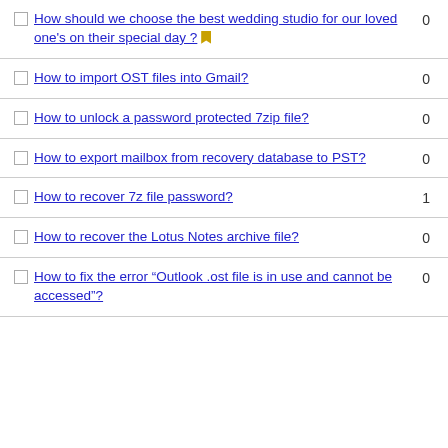How should we choose the best wedding studio for our loved one's on their special day ? 0
How to import OST files into Gmail? 0
How to unlock a password protected 7zip file? 0
How to export mailbox from recovery database to PST? 0
How to recover 7z file password? 1
How to recover the Lotus Notes archive file? 0
How to fix the error “Outlook .ost file is in use and cannot be accessed”? 0